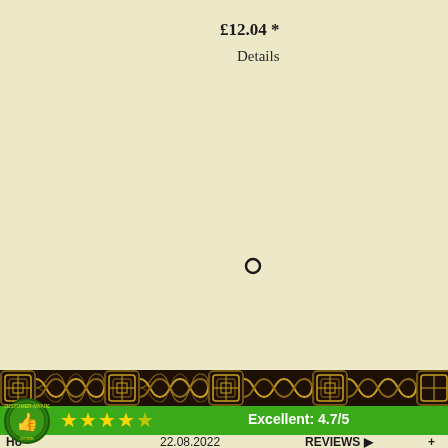£12.04 *
Details
[Figure (other): Small circular ring/hoop jewelry item icon]
Eagle Silver Ear Stud (1 Pair)
£7.37 *
Details
[Figure (other): Decorative Celtic knot border strip in dark brown/black]
[Figure (other): Customer award badge with thumbs up icon]
Excellent: 4.7/5
Ho  22.08.2022  REVIEWS ▶  +